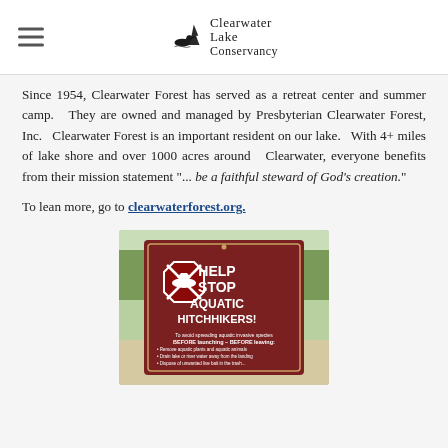Clearwater Lake Conservancy (logo with loon and tree)
Since 1954, Clearwater Forest has served as a retreat center and summer camp.   They are owned and managed by Presbyterian Clearwater Forest, Inc.   Clearwater Forest is an important resident on our lake.   With 4+ miles of lake shore and over 1000 acres around   Clearwater, everyone benefits from their mission statement "... be a faithful steward of God’s creation."
To lean more, go to clearwaterforest.org.
[Figure (photo): Brown sign reading HELP STOP AQUATIC HITCHHIKERS! with a stop sign icon featuring a boat, and bullet points about removing aquatic plants and draining water before launching or leaving.]